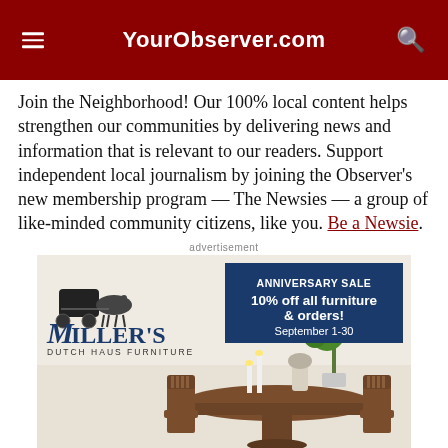YourObserver.com
Join the Neighborhood! Our 100% local content helps strengthen our communities by delivering news and information that is relevant to our readers. Support independent local journalism by joining the Observer's new membership program — The Newsies — a group of like-minded community citizens, like you. Be a Newsie.
advertisement
[Figure (photo): Advertisement for Miller's Dutch Haus Furniture showing an Anniversary Sale with 10% off all furniture & orders, September 1-30, overlaid on a photo of a dining room set with wooden table and chairs.]